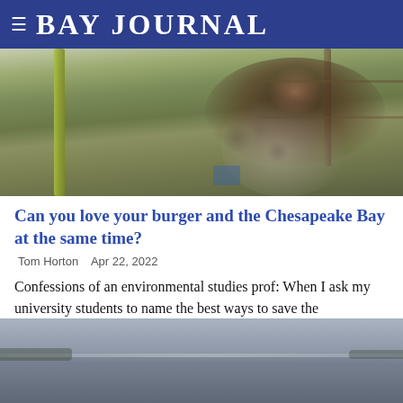≡ BAY JOURNAL
[Figure (photo): Photo of a dog being handled/examined outdoors near a fence, with green grass and a wooden fence visible in the background]
Can you love your burger and the Chesapeake Bay at the same time?
Tom Horton   Apr 22, 2022
Confessions of an environmental studies prof: When I ask my university students to name the best ways to save the Chesapeake Bay and the plane… Read Story
[Figure (photo): Photo of the Chesapeake Bay water with a misty horizon, showing calm grey-blue water and hazy sky]